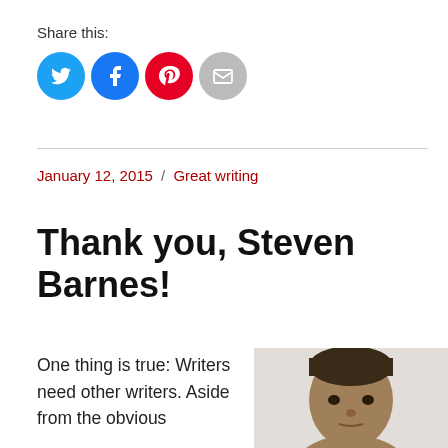Share this:
[Figure (infographic): Social share buttons: Twitter (blue circle), Facebook (blue circle), Pinterest (red circle), Email (grey circle)]
January 12, 2015 / Great writing
Thank you, Steven Barnes!
One thing is true: Writers need other writers. Aside from the obvious
[Figure (photo): Headshot photo of Steven Barnes, a man with short hair, facing forward with a serious expression]